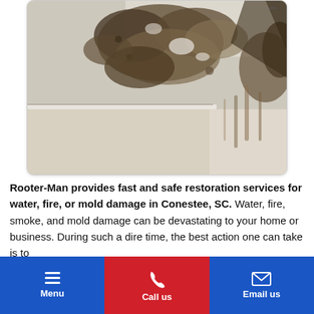[Figure (photo): Photo of water and mold damage on a white ceiling and wall corner, showing dark brown staining, peeling paint, and moisture damage.]
Rooter-Man provides fast and safe restoration services for water, fire, or mold damage in Conestee, SC. Water, fire, smoke, and mold damage can be devastating to your home or business. During such a dire time, the best action one can take is to
Menu | Call us | Email us